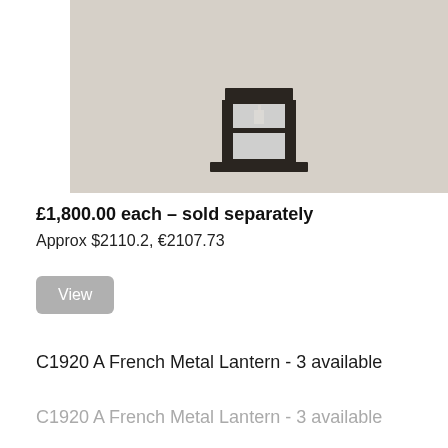[Figure (photo): A dark metal framed lantern with glass panels, photographed from below against a beige/cream background. The lantern has a square base and geometric frame structure.]
£1,800.00 each – sold separately
Approx $2110.2, €2107.73
View
C1920 A French Metal Lantern - 3 available
C1920 A French Metal Lantern - 3 available